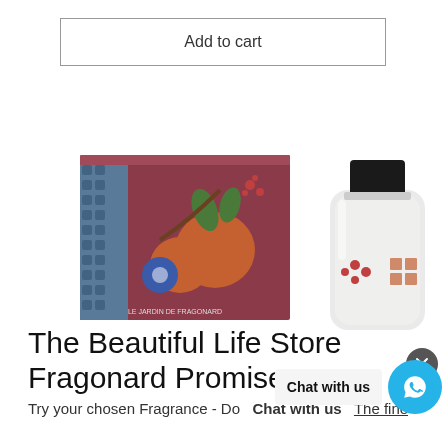[Figure (other): Add to cart button — rectangular button with border and text 'Add to cart']
[Figure (photo): Product photo of Fragonard Le Jardin de Fragonard perfume box (dark red/terracotta floral pattern) next to a glass perfume bottle with black cap and matching floral decoration]
The Beautiful Life Store Fragonard Promise
Try your chosen Fragrance - Do  The finest fragrances of Provence.